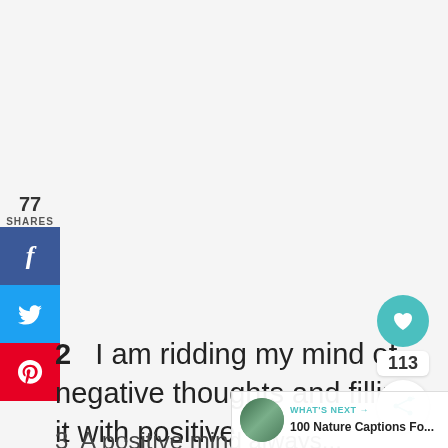77 SHARES
[Figure (infographic): Social share buttons: Facebook (blue), Twitter (light blue), Pinterest (red) stacked vertically on left side]
2   I am ridding my mind of negative thoughts and filling it with positive
[Figure (infographic): Right side widget with teal heart button, count 113, and share icon button]
WHAT'S NEXT → 100 Nature Captions Fo...
3   A positive mind always...